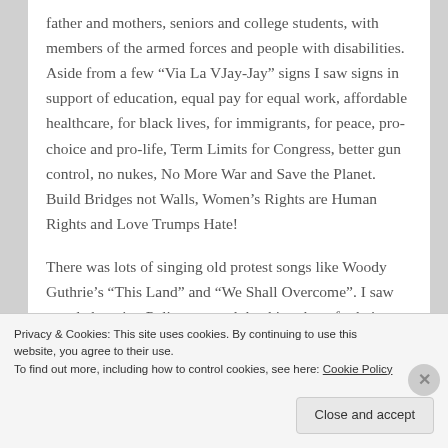father and mothers, seniors and college students, with members of the armed forces and people with disabilities. Aside from a few “Via La VJay-Jay” signs I saw signs in support of education, equal pay for equal work, affordable healthcare, for black lives, for immigrants, for peace, pro-choice and pro-life, Term Limits for Congress, better gun control, no nukes, No More War and Save the Planet. Build Bridges not Walls, Women’s Rights are Human Rights and Love Trumps Hate!
There was lots of singing old protest songs like Woody Guthrie’s “This Land” and “We Shall Overcome”. I saw people hugging Policemen and thanking them for being there and lots of guys with signs that said I’m With Her and This is What a
Privacy & Cookies: This site uses cookies. By continuing to use this website, you agree to their use.
To find out more, including how to control cookies, see here: Cookie Policy